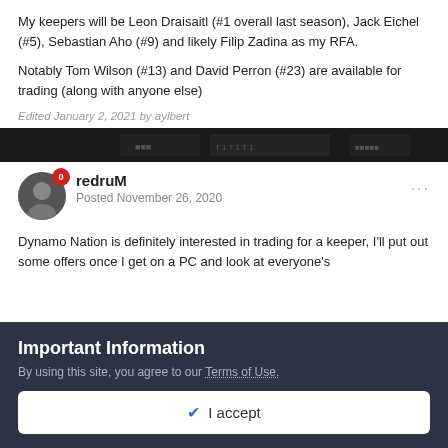My keepers will be Leon Draisaitl (#1 overall last season), Jack Eichel (#5), Sebastian Aho (#9) and likely Filip Zadina as my RFA.
Notably Tom Wilson (#13) and David Perron (#23) are available for trading (along with anyone else)
Edited January 2, 2021 by aylbert
[Figure (photo): Dark banner image of a hockey arena scoreboard]
redruM
Posted November 26, 2020
Dynamo Nation is definitely interested in trading for a keeper, I'll put out some offers once I get on a PC and look at everyone's
Important Information
By using this site, you agree to our Terms of Use.
I accept